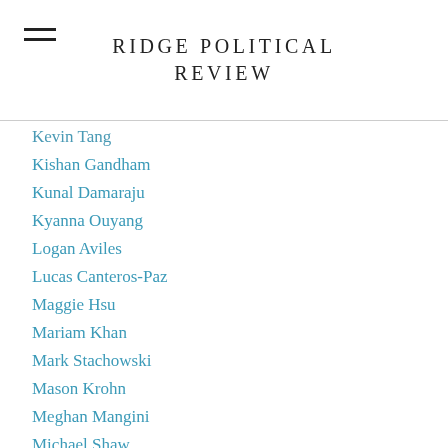RIDGE POLITICAL REVIEW
Kevin Tang
Kishan Gandham
Kunal Damaraju
Kyanna Ouyang
Logan Aviles
Lucas Canteros-Paz
Maggie Hsu
Mariam Khan
Mark Stachowski
Mason Krohn
Meghan Mangini
Michael Shaw
Mimi Petric
Namita Kalghatgi
Noah Smith
Oliver Tang
Omar Bekdash
Pasha Saidi